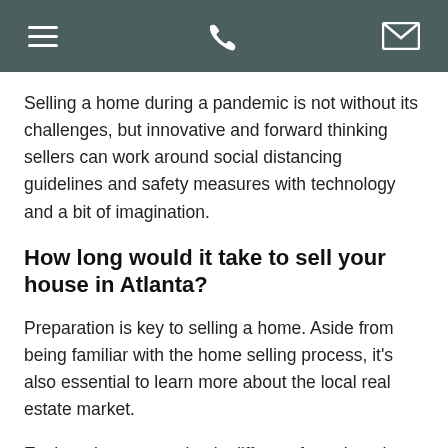[navigation bar with menu, phone, and email icons]
Selling a home during a pandemic is not without its challenges, but innovative and forward thinking sellers can work around social distancing guidelines and safety measures with technology and a bit of imagination.
How long would it take to sell your house in Atlanta?
Preparation is key to selling a home. Aside from being familiar with the home selling process, it's also essential to learn more about the local real estate market.
Each real estate market is different from the other, from the growth trends to property options to the time it takes to sell a home. This helps you manage your expectations and plan your home sale accordingly. If you plan on selling your house in Atlanta, GA, this article will give you a better